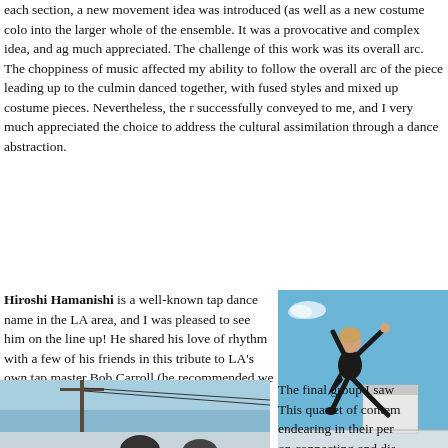each section, a new movement idea was introduced (as well as a new costume colo into the larger whole of the ensemble. It was a provocative and complex idea, and ag much appreciated. The challenge of this work was its overall arc. The choppiness of music affected my ability to follow the overall arc of the piece leading up to the culmin danced together, with fused styles and mixed up costume pieces. Nevertheless, the r successfully conveyed to me, and I very much appreciated the choice to address the cultural assimilation through a dance abstraction.
Hiroshi Hamanishi is a well-known tap dance name in the LA area, and I was pleased to see him on the line up! He shared his love of rhythm with a few of his friends in this tribute to LA's own tap master Bob Carroll (he recommended we all look this man up and even took the time to spell Carroll's name to make sure we found him—which I did). The joys of the tap rhythms were contagious and while the marley floor (so appreciated by the majority of the dance groups) wasn't ideal for the tap dance choreography, the microphone set up to catch the tap sound made a huge difference for these tap performers.
[Figure (photo): A dancer in black leaping outdoors with arms raised, blue sky background, pier/harbor visible]
Guests o
[Figure (photo): Outdoor scene with utility pole, blue sky, partial figures visible at bottom]
The final group I saw This quartet of contem endearing in their per on connecting and dis